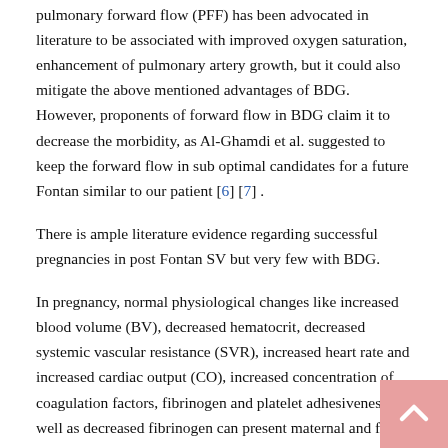pulmonary forward flow (PFF) has been advocated in literature to be associated with improved oxygen saturation, enhancement of pulmonary artery growth, but it could also mitigate the above mentioned advantages of BDG. However, proponents of forward flow in BDG claim it to decrease the morbidity, as Al-Ghamdi et al. suggested to keep the forward flow in sub optimal candidates for a future Fontan similar to our patient [6] [7] .
There is ample literature evidence regarding successful pregnancies in post Fontan SV but very few with BDG.
In pregnancy, normal physiological changes like increased blood volume (BV), decreased hematocrit, decreased systemic vascular resistance (SVR), increased heart rate and increased cardiac output (CO), increased concentration of coagulation factors, fibrinogen and platelet adhesiveness as well as decreased fibrinogen can present maternal and fetal threat to patients with SV